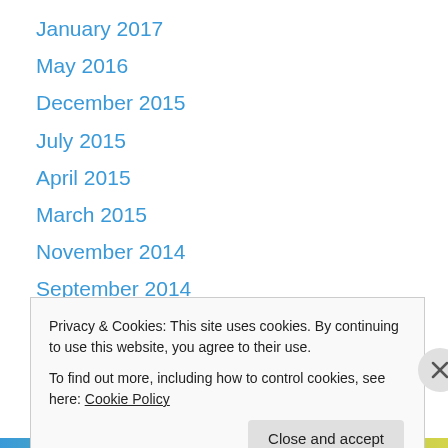January 2017
May 2016
December 2015
July 2015
April 2015
March 2015
November 2014
September 2014
June 2014
May 2014
April 2014
March 2014
January 2014
Privacy & Cookies: This site uses cookies. By continuing to use this website, you agree to their use.
To find out more, including how to control cookies, see here: Cookie Policy